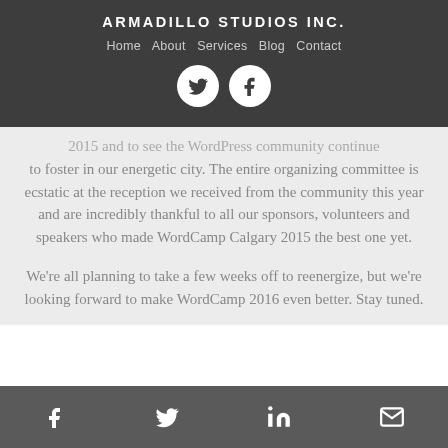ARMADILLO STUDIOS INC.
Home  About  Services  Blog  Contact
[Figure (illustration): Two circular social media icons: Twitter bird icon and Facebook 'f' icon, white on dark background]
2015 and to see the WordPress community continue to foster in our energetic city. The entire organizing committee is ecstatic at the reception we received from the community this year and are incredibly thankful to all our sponsors, volunteers and speakers who made WordCamp Calgary 2015 the best one yet.
We're all planning to take a few weeks off to reenergize, but we're looking forward to make WordCamp 2016 even better. Stay tuned.
[Figure (illustration): Footer bar with four social media icons: Facebook, Twitter, LinkedIn, and Email/envelope, white icons on dark gray background]